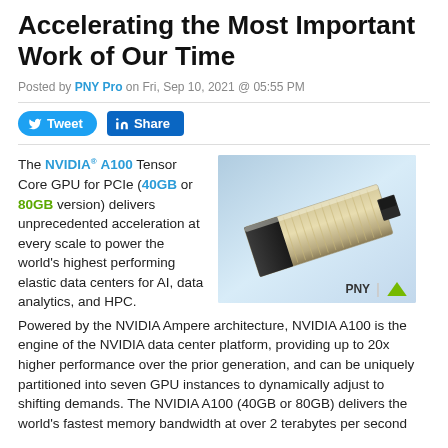Accelerating the Most Important Work of Our Time
Posted by PNY Pro on Fri, Sep 10, 2021 @ 05:55 PM
[Figure (other): Twitter Tweet button and LinkedIn Share button]
[Figure (photo): NVIDIA A100 GPU card product photo with PNY and NVIDIA logos]
The NVIDIA® A100 Tensor Core GPU for PCIe (40GB or 80GB version) delivers unprecedented acceleration at every scale to power the world's highest performing elastic data centers for AI, data analytics, and HPC. Powered by the NVIDIA Ampere architecture, NVIDIA A100 is the engine of the NVIDIA data center platform, providing up to 20x higher performance over the prior generation, and can be uniquely partitioned into seven GPU instances to dynamically adjust to shifting demands. The NVIDIA A100 (40GB or 80GB) delivers the world's fastest memory bandwidth at over 2 terabytes per second